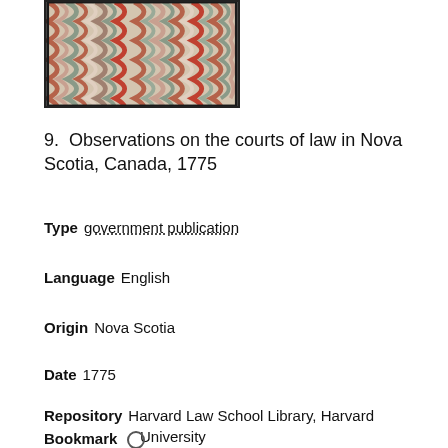[Figure (photo): Marbled paper endpaper with swirling red, grey, and cream pattern in a decorative book binding style, framed with a dark border.]
9.  Observations on the courts of law in Nova Scotia, Canada, 1775
Type   government publication
Language   English
Origin   Nova Scotia
Date   1775
Repository   Harvard Law School Library, Harvard University
Bookmark